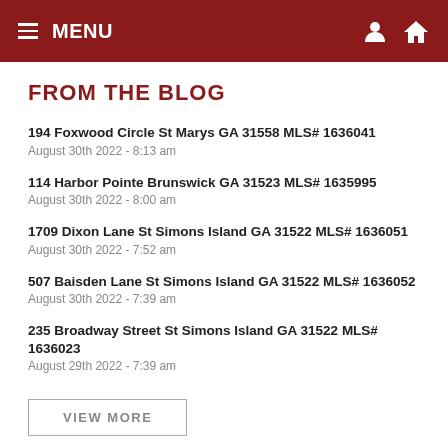≡ MENU
FROM THE BLOG
194 Foxwood Circle St Marys GA 31558 MLS# 1636041
August 30th 2022 - 8:13 am
114 Harbor Pointe Brunswick GA 31523 MLS# 1635995
August 30th 2022 - 8:00 am
1709 Dixon Lane St Simons Island GA 31522 MLS# 1636051
August 30th 2022 - 7:52 am
507 Baisden Lane St Simons Island GA 31522 MLS# 1636052
August 30th 2022 - 7:39 am
235 Broadway Street St Simons Island GA 31522 MLS# 1636023
August 29th 2022 - 7:39 am
VIEW MORE